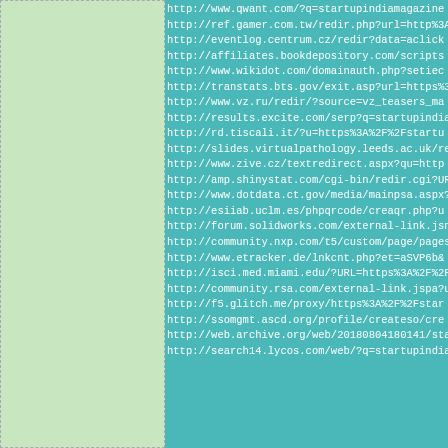http://www.qwant.com/?q=startupindiamagazine
http://ref.gamer.com.tw/redir.php?url=http%3A
http://eventlog.centrum.cz/redir?data=aclick
http://affiliates.bookdepository.com/scripts
http://www.wikidot.com/domainauth.php?setiec
http://transtats.bts.gov/exit.asp?url=https%3
http://www.vz.ru/redir/?source=vz_teasers_ma
http://results.excite.com/serp?q=startupindia
http://rd.tiscali.it/?u=https%3A%2F%2Fstartu
http://slides.virtualpathology.leeds.ac.uk/re
http://www.zive.cz/textredirect.aspx?qu=http
http://amp.shinystat.com/cgi-bin/redir.cgi?UR
http://www.dotdata.ct.gov/media/mainpsa.aspx?
http://esiiab.uclm.es/phpqrcode/creaqr.php?u
http://forum.solidworks.com/external-link.jsn
http://community.nxp.com/t5/custom/page/pages
http://www.etracker.de/lnkcnt.php?et=aSVP6b&
http://isci.med.miami.edu/?URL=https%3A%2F%2F
http://community.rsa.com/external-link.jspa?u
http://f5.glitch.me/proxy/https%3A%2F%2Fstar
http://ssomgmt.ascd.org/profile/createso/cre
http://web.archive.org/web/20180804180141/sta
http://search14.lycos.com/web/?q=startupindia